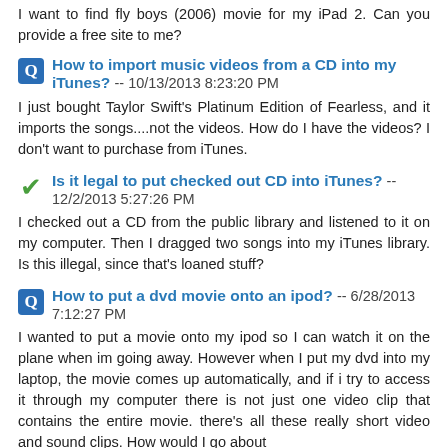I want to find fly boys (2006) movie for my iPad 2. Can you provide a free site to me?
How to import music videos from a CD into my iTunes? -- 10/13/2013 8:23:20 PM
I just bought Taylor Swift's Platinum Edition of Fearless, and it imports the songs....not the videos. How do I have the videos? I don't want to purchase from iTunes.
Is it legal to put checked out CD into iTunes? -- 12/2/2013 5:27:26 PM
I checked out a CD from the public library and listened to it on my computer. Then I dragged two songs into my iTunes library. Is this illegal, since that's loaned stuff?
How to put a dvd movie onto an ipod? -- 6/28/2013 7:12:27 PM
I wanted to put a movie onto my ipod so I can watch it on the plane when im going away. However when I put my dvd into my laptop, the movie comes up automatically, and if i try to access it through my computer there is not just one video clip that contains the entire movie. there's all these really short video and sound clips. How would I go about getting the full length movie into my ipod?